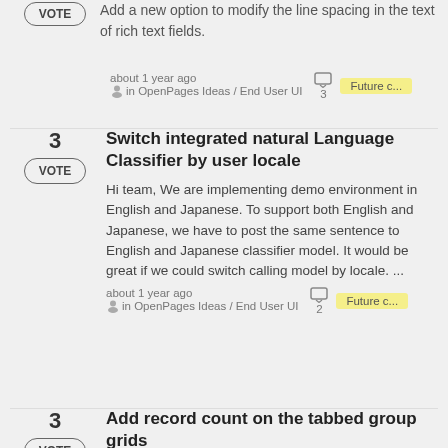Add a new option to modify the line spacing in the text of rich text fields.
about 1 year ago in OpenPages Ideas / End User UI
Future c...
Switch integrated natural Language Classifier by user locale
Hi team, We are implementing demo environment in English and Japanese. To support both English and Japanese, we have to post the same sentence to English and Japanese classifier model. It would be great if we could switch calling model by locale. ...
about 1 year ago in OpenPages Ideas / End User UI
Future c...
Add record count on the tabbed group grids